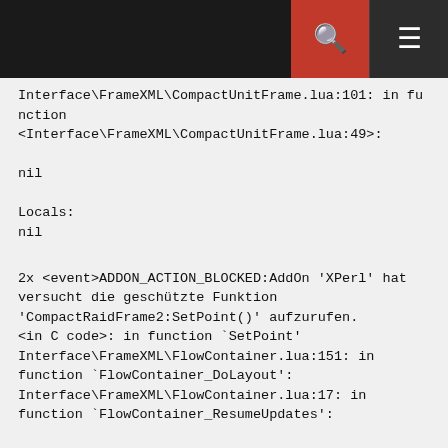Interface\FrameXML\CompactUnitFrame.lua:101: in function <Interface\FrameXML\CompactUnitFrame.lua:49>:

nil

Locals:
nil
2x <event>ADDON_ACTION_BLOCKED:AddOn 'XPerl' hat versucht die geschützte Funktion 'CompactRaidFrame2:SetPoint()' aufzurufen.
<in C code>: in function `SetPoint'
Interface\FrameXML\FlowContainer.lua:151: in function `FlowContainer_DoLayout':
Interface\FrameXML\FlowContainer.lua:17: in function `FlowContainer_ResumeUpdates':